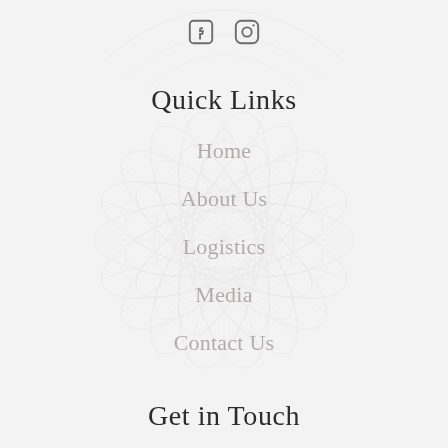[Figure (illustration): Social media icons: Facebook and Instagram]
Quick Links
Home
About Us
Logistics
Media
Contact Us
Get in Touch